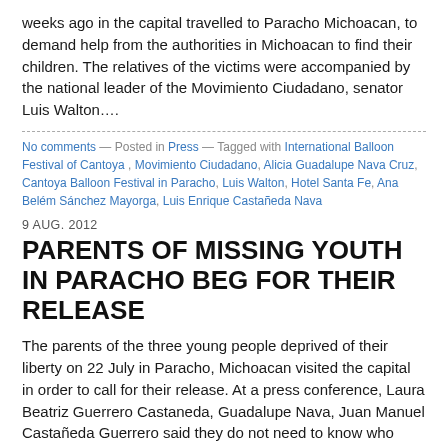weeks ago in the capital travelled to Paracho Michoacan, to demand help from the authorities in Michoacan to find their children. The relatives of the victims were accompanied by the national leader of the Movimiento Ciudadano, senator Luis Walton….
No comments — Posted in Press — Tagged with International Balloon Festival of Cantoya , Movimiento Ciudadano, Alicia Guadalupe Nava Cruz, Cantoya Balloon Festival in Paracho, Luis Walton, Hotel Santa Fe, Ana Belém Sánchez Mayorga, Luis Enrique Castañeda Nava
9 AUG. 2012
PARENTS OF MISSING YOUTH IN PARACHO BEG FOR THEIR RELEASE
The parents of the three young people deprived of their liberty on 22 July in Paracho, Michoacan visited the capital in order to call for their release. At a press conference, Laura Beatriz Guerrero Castaneda, Guadalupe Nava, Juan Manuel Castañeda Guerrero said they do not need to know who took…
Comments Off on Parents of missing youth in Paracho beg for their release —